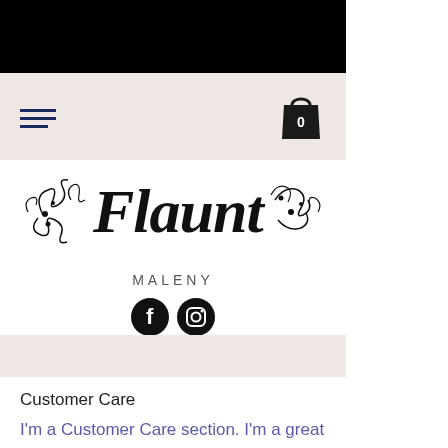[Figure (screenshot): Black top navigation bar of a website]
Navigation bar with hamburger menu icon and shopping cart icon (0 items)
[Figure (logo): Flaunt Maleny logo with decorative script font and swirl ornaments, Facebook and Instagram social icons below]
[Figure (other): Light pink/cream horizontal strip serving as a navigation menu bar]
Customer Care
I'm a Customer Care section. I'm a great